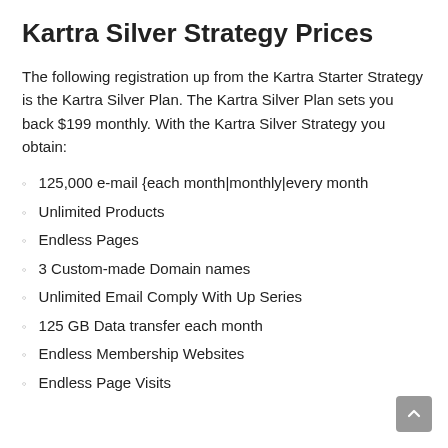Kartra Silver Strategy Prices
The following registration up from the Kartra Starter Strategy is the Kartra Silver Plan. The Kartra Silver Plan sets you back $199 monthly. With the Kartra Silver Strategy you obtain:
125,000 e-mail {each month|monthly|every month
Unlimited Products
Endless Pages
3 Custom-made Domain names
Unlimited Email Comply With Up Series
125 GB Data transfer each month
Endless Membership Websites
Endless Page Visits